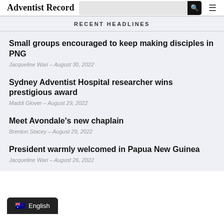Adventist Record
RECENT HEADLINES
Small groups encouraged to keep making disciples in PNG
Jacqueline Wari – August 30, 2022
Sydney Adventist Hospital researcher wins prestigious award
Maddi Glover – August 29, 2022
Meet Avondale's new chaplain
Brenton Stacey – August 29, 2022
President warmly welcomed in Papua New Guinea
Jacqueline Wari – August 26, 2022